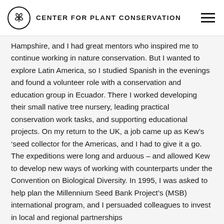CENTER FOR PLANT CONSERVATION
Hampshire, and I had great mentors who inspired me to continue working in nature conservation. But I wanted to explore Latin America, so I studied Spanish in the evenings and found a volunteer role with a conservation and education group in Ecuador. There I worked developing their small native tree nursery, leading practical conservation work tasks, and supporting educational projects. On my return to the UK, a job came up as Kew's 'seed collector for the Americas, and I had to give it a go. The expeditions were long and arduous – and allowed Kew to develop new ways of working with counterparts under the Convention on Biological Diversity. In 1995, I was asked to help plan the Millennium Seed Bank Project's (MSB) international program, and I persuaded colleagues to invest in local and regional partnerships